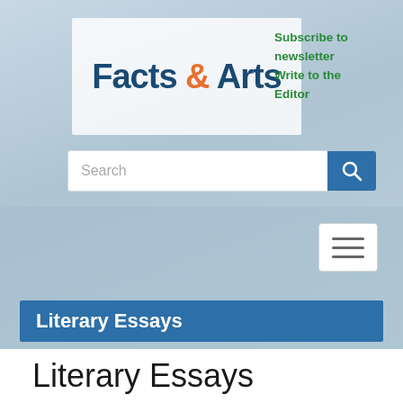[Figure (logo): Facts & Arts logo in white box with blue and orange text]
Subscribe to newsletter   Write to the Editor
[Figure (screenshot): Search input bar with blue search button]
[Figure (other): Hamburger menu button with three horizontal lines]
Literary Essays
Literary Essays
War and Peace: a user's guide
by Sarah Hudspith
Jan 9th 2016